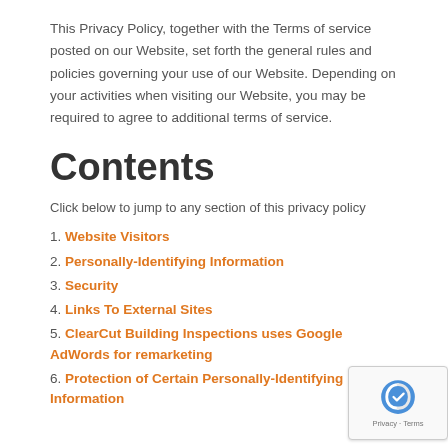This Privacy Policy, together with the Terms of service posted on our Website, set forth the general rules and policies governing your use of our Website. Depending on your activities when visiting our Website, you may be required to agree to additional terms of service.
Contents
Click below to jump to any section of this privacy policy
1. Website Visitors
2. Personally-Identifying Information
3. Security
4. Links To External Sites
5. ClearCut Building Inspections uses Google AdWords for remarketing
6. Protection of Certain Personally-Identifying Information